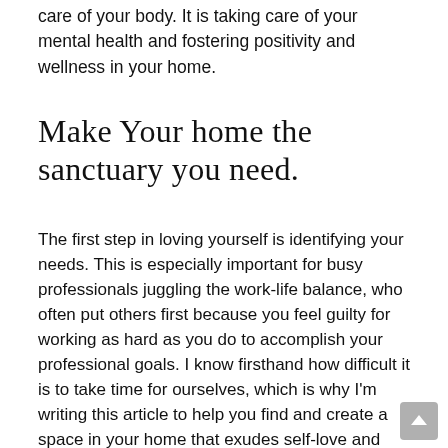care of your body. It is taking care of your mental health and fostering positivity and wellness in your home.
Make Your home the sanctuary you need.
The first step in loving yourself is identifying your needs. This is especially important for busy professionals juggling the work-life balance, who often put others first because you feel guilty for working as hard as you do to accomplish your professional goals. I know firsthand how difficult it is to take time for ourselves, which is why I'm writing this article to help you find and create a space in your home that exudes self-love and promote self-care.